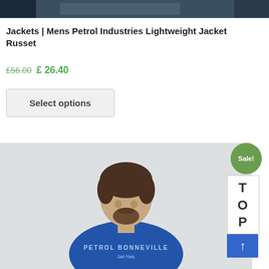[Figure (photo): Top cropped banner image showing a dark outdoor/jacket scene]
Jackets | Mens Petrol Industries Lightweight Jacket Russet
£56.00 £ 26.40
Select options
[Figure (photo): Man wearing a blue Petrol Bonneville graphic t-shirt, looking to the side, against a light grey background. Sale! badge visible top right.]